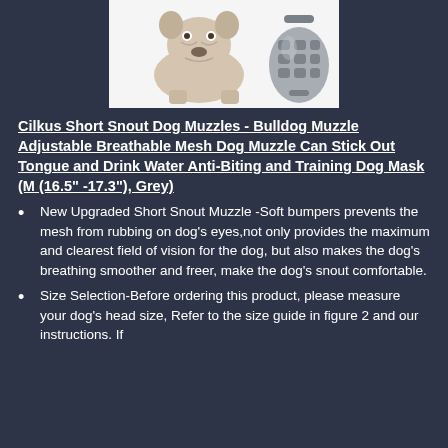[Figure (photo): A bulldog photographed from the front showing its face and paws, next to an image of a grey mesh dog muzzle product]
Cilkus Short Snout Dog Muzzles - Bulldog Muzzle Adjustable Breathable Mesh Dog Muzzle Can Stick Out Tongue and Drink Water Anti-Biting and Training Dog Mask (M (16.5" -17.3"), Grey)
New Upgraded Short Snout Muzzle -Soft bumpers prevents the mesh from rubbing on dog's eyes,not only provides the maximum and clearest field of vision for the dog, but also makes the dog's breathing smoother and freer, make the dog's snout comfortable.
Size Selection-Before ordering this product, please measure your dog's head size, Refer to the size guide in figure 2 and our instructions. If